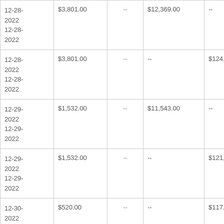| Date | Amount | -- | Amount2 | Amount3 |  |
| --- | --- | --- | --- | --- | --- |
| 12-28-2022
12-28-2022 | $3,801.00 | -- | $12,369.00 | -- |  |
| 12-28-2022
12-28-2022 | $3,801.00 | -- | -- | $124,236.00 |  |
| 12-29-2022
12-29-2022 | $1,532.00 | -- | $11,543.00 | -- |  |
| 12-29-2022
12-29-2022 | $1,532.00 | -- | -- | $121,016.00 | ↑ |
| 12-30-2022
12-30- | $520.00 | -- | -- | $117,628.00 |  |